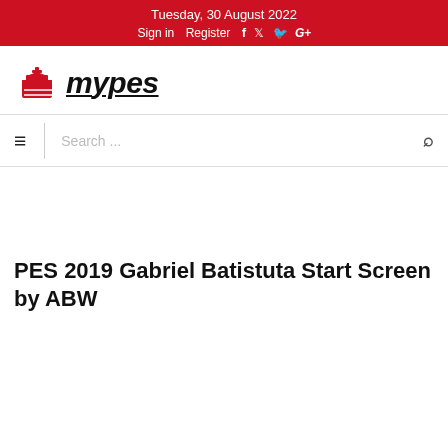Tuesday, 30 August 2022
Sign in   Register   f   Twitter   G+
[Figure (logo): MyPES website logo with red chess king icon and bold italic underlined text 'mypes']
☰   Search ...   🔍
PES 2019 Gabriel Batistuta Start Screen by ABW